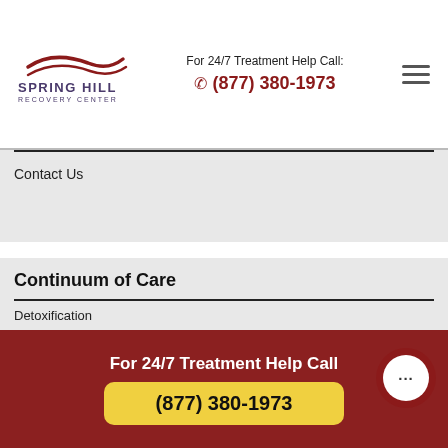Spring Hill Recovery Center | For 24/7 Treatment Help Call: (877) 380-1973
Contact Us
Continuum of Care
Detoxification
Inpatient/Residential Rehab
Partial Hospitalization Or Day Treatment
Intensive Outpatient Programs
Sober Living/Transitional Care
Standard Outpatient Treatment
Aftercare
For 24/7 Treatment Help Call
(877) 380-1973